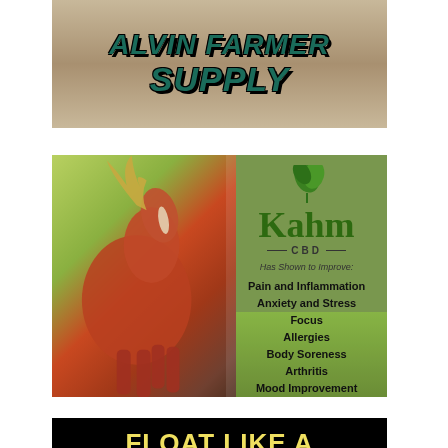[Figure (illustration): Alvin Farmer Supply advertisement with italic bold teal text on sandy/dirt background. Text reads 'ALVIN FARMER SUPPLY' in large stylized font.]
[Figure (illustration): Kahm CBD advertisement featuring a brown horse with flowing mane on a green field background. Right side shows Kahm CBD logo with green leaf and text listing benefits: Has Shown to Improve: Pain and Inflammation, Anxiety and Stress, Focus, Allergies, Body Soreness, Arthritis, Mood Improvement.]
[Figure (illustration): Black background advertisement with large yellow bold text reading 'FLOAT LIKE A BUTTERFLY COMFORT' (partial, cut off at bottom).]